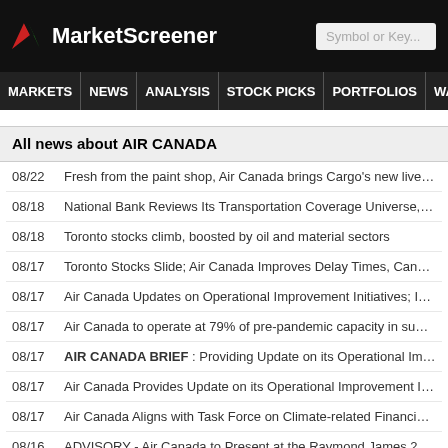MarketScreener | Symbol or Key...
MARKETS | NEWS | ANALYSIS | STOCK PICKS | PORTFOLIOS | WATCHLI...
All news about AIR CANADA
08/22  Fresh from the paint shop, Air Canada brings Cargo's new livery to life for
08/18  National Bank Reviews Its Transportation Coverage Universe, Looks at S
08/18  Toronto stocks climb, boosted by oil and material sectors
08/17  Toronto Stocks Slide; Air Canada Improves Delay Times, Cancellations
08/17  Air Canada Updates on Operational Improvement Initiatives; Issues Task
08/17  Air Canada to operate at 79% of pre-pandemic capacity in summer
08/17  AIR CANADA BRIEF : Providing Update on its Operational Improvement
08/17  Air Canada Provides Update on its Operational Improvement Initiatives
08/17  Air Canada Aligns with Task Force on Climate-related Financial Disclosur
08/16  ADVISORY - Air Canada to Present at the Raymond James 2022 Diversit
» More news